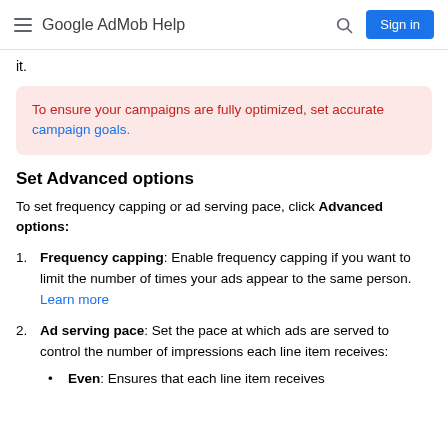Google AdMob Help
it.
To ensure your campaigns are fully optimized, set accurate campaign goals.
Set Advanced options
To set frequency capping or ad serving pace, click Advanced options:
Frequency capping: Enable frequency capping if you want to limit the number of times your ads appear to the same person. Learn more
Ad serving pace: Set the pace at which ads are served to control the number of impressions each line item receives:
Even: Ensures that each line item receives